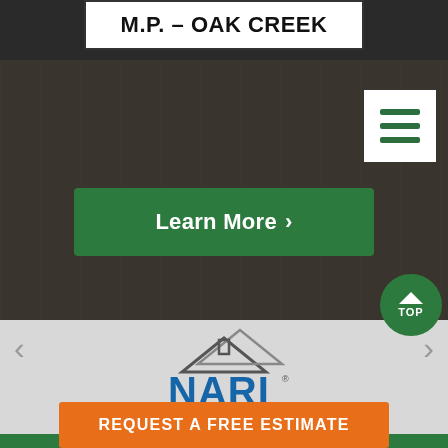M.P. – OAK CREEK
[Figure (screenshot): Green 'Learn More >' button on dark background with blurred kitchen photo]
[Figure (logo): NARI - National Association of the Remodeling Industry logo with tagline 'Remodeling Done Right.' and MEMBER text]
REQUEST A FREE ESTIMATE